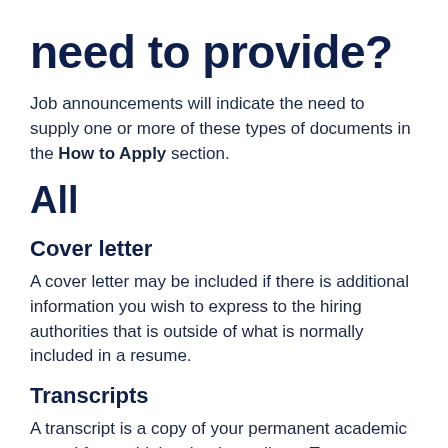need to provide?
Job announcements will indicate the need to supply one or more of these types of documents in the How to Apply section.
All
Cover letter
A cover letter may be included if there is additional information you wish to express to the hiring authorities that is outside of what is normally included in a resume.
Transcripts
A transcript is a copy of your permanent academic record from a high school or college. To get a copy, contact the